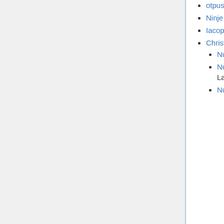Ninje otpustjajesjie I TTBBBB with bass solo.
Ninje otpustjajesjie II SSATTBBB.
Iacopo Corfini SATB.SATB Latin
Christoph Dalitz
Nunc dimittis a 2 ST or AB or SA Latin
Nunc dimittis a 3 SAT or ATB or SSA or TTB Latin
Nunc dimittis
withdrawn
Silla Palestrina SSATTB
John Playford (STB + cont.)
Hieronymus Praetorius SATB.SATB (Lati
Michael Praetorius SATB.SATB (Lati w/o Gloria Patri)
Thomas Ravenscroft (OV Metrical Psalter)
Jacob Regnart SSATBarB (Latin omits "quia viderunt oculi me salutare tuum" as well as "Gloria